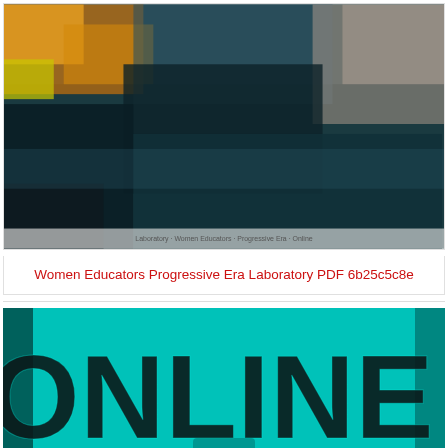[Figure (photo): Blurry photo of a classroom or learning environment with dark teal/blue tones and colorful background elements including orange and yellow]
Women Educators Progressive Era Laboratory PDF 6b25c5c8e
[Figure (photo): Partially visible image showing the word ONLINE in large dark letters on a teal/cyan background]